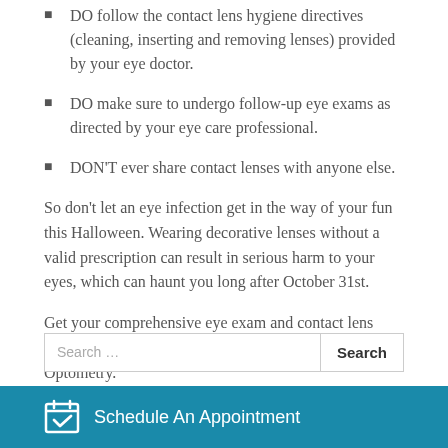DO follow the contact lens hygiene directives (cleaning, inserting and removing lenses) provided by your eye doctor.
DO make sure to undergo follow-up eye exams as directed by your eye care professional.
DON'T ever share contact lenses with anyone else.
So don't let an eye infection get in the way of your fun this Halloween. Wearing decorative lenses without a valid prescription can result in serious harm to your eyes, which can haunt you long after October 31st.
Get your comprehensive eye exam and contact lens fitting by an eye doctor in Norfolk at Envision Ghent Optometry.